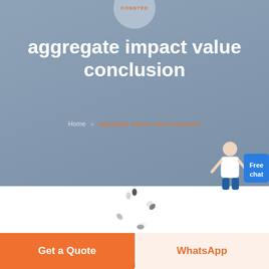CONSTED
aggregate impact value conclusion
Home » aggregate impact value conclusion
[Figure (illustration): Circular loading/spinner animation graphic in gray]
[Figure (photo): Industrial factory interior with large machinery and equipment]
Get a Quote
WhatsApp